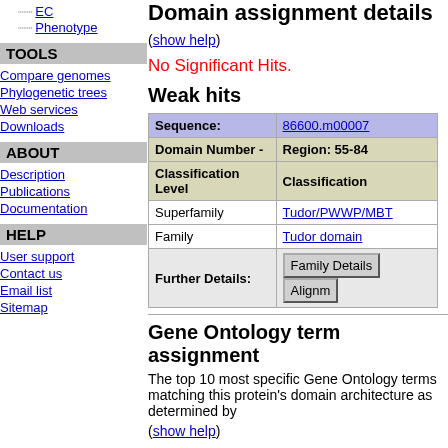EC
Phenotype
TOOLS
Compare genomes
Phylogenetic trees
Web services
Downloads
ABOUT
Description
Publications
Documentation
HELP
User support
Contact us
Email list
Sitemap
Domain assignment details
(show help)
No Significant Hits.
Weak hits
| Sequence: | 86600.m00007 |
| --- | --- |
| Domain Number - | Region: 55-84 |
| Classification Level | Classification |
| Superfamily | Tudor/PWWP/MBT |
| Family | Tudor domain |
| Further Details: | Family Details | Alignment |
Gene Ontology term assignment
The top 10 most specific Gene Ontology terms matching this protein's domain architecture as determined by
(show help)